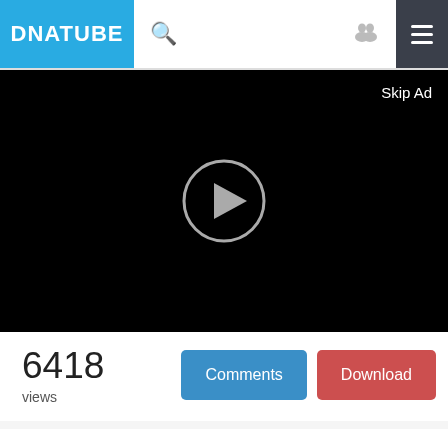DNATUBE
[Figure (screenshot): Video player with black background, play button in center, Skip Ad text in top right]
6418
views
Comments
Download
Lecture on